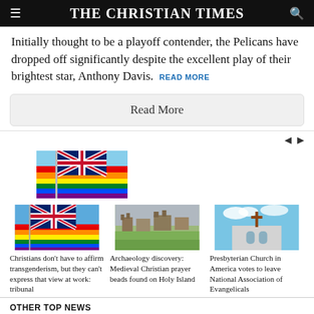THE CHRISTIAN TIMES
Initially thought to be a playoff contender, the Pelicans have dropped off significantly despite the excellent play of their brightest star, Anthony Davis. READ MORE
Read More
[Figure (photo): Rainbow pride flag alongside Union Jack flag against blue sky]
Christians don't have to affirm transgenderism, but they can't express that view at work: tribunal
[Figure (photo): Medieval castle ruins on Holy Island, green grass, overcast sky]
Archaeology discovery: Medieval Christian prayer beads found on Holy Island
[Figure (photo): Church building exterior with cross against blue sky with clouds]
Presbyterian Church in America votes to leave National Association of Evangelicals
OTHER TOP NEWS